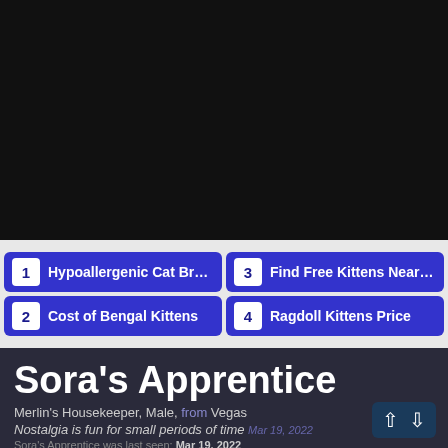[Figure (screenshot): Dark background area at top of page, part of a web interface]
1 Hypoallergenic Cat Breeds
2 Cost of Bengal Kittens
3 Find Free Kittens Near Me
4 Ragdoll Kittens Price
Sora's Apprentice
Merlin's Housekeeper, Male, from Vegas
Nostalgia is fun for small periods of time Mar 19, 2022
Sora's Apprentice was last seen: Mar 19, 2022